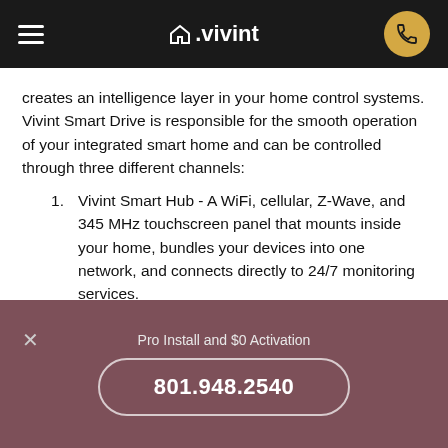≡  ⌂.vivint  [phone icon]
creates an intelligence layer in your home control systems. Vivint Smart Drive is responsible for the smooth operation of your integrated smart home and can be controlled through three different channels:
1. Vivint Smart Hub - A WiFi, cellular, Z-Wave, and 345 MHz touchscreen panel that mounts inside your home, bundles your devices into one network, and connects directly to 24/7 monitoring services.
2. Vivint Mobile - A top-rated app on The App Store that puts the same Vivint Smart Hub dashboard
Pro Install and $0 Activation
801.948.2540